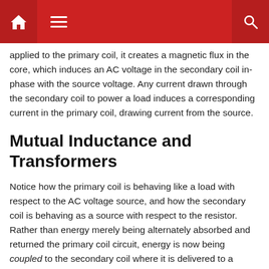Navigation bar with home, menu, and search icons
applied to the primary coil, it creates a magnetic flux in the core, which induces an AC voltage in the secondary coil in-phase with the source voltage. Any current drawn through the secondary coil to power a load induces a corresponding current in the primary coil, drawing current from the source.
Mutual Inductance and Transformers
Notice how the primary coil is behaving like a load with respect to the AC voltage source, and how the secondary coil is behaving as a source with respect to the resistor. Rather than energy merely being alternately absorbed and returned the primary coil circuit, energy is now being coupled to the secondary coil where it is delivered to a dissipative (energy-consuming) load. As far as the source “knows,” its directly powering the